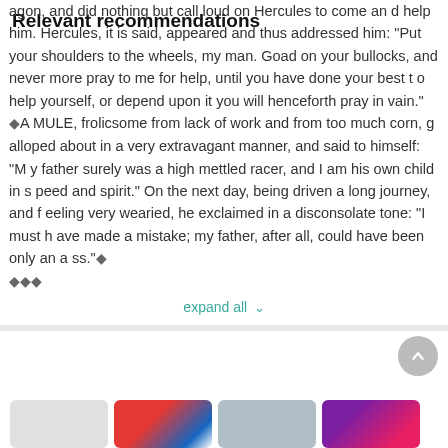agon, and did nothing but call loud on hercules to come and help him. Hercules, it is said, appeared and thus addressed him: "Put your shoulders to the wheels, my man. Goad on your bullocks, and never more pray to me for help, until you have done your best to help yourself, or depend upon it you will henceforth pray in vain." ◆A MULE, frolicsome from lack of work and from too much corn, galloped about in a very extravagant manner, and said to himself: "My father surely was a high mettled racer, and I am his own child in speed and spirit." On the next day, being driven a long journey, and feeling very wearied, he exclaimed in a disconsolate tone: "I must have made a mistake; my father, after all, could have been only an ass."◆ ◆◆◆
expand all
Relevant recommendations